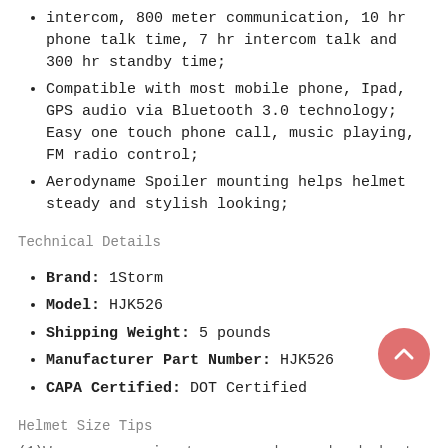intercom, 800 meter communication, 10 hr phone talk time, 7 hr intercom talk and 300 hr standby time;
Compatible with most mobile phone, Ipad, GPS audio via Bluetooth 3.0 technology; Easy one touch phone call, music playing, FM radio control;
Aerodyname Spoiler mounting helps helmet steady and stylish looking;
Technical Details
Brand: 1Storm
Model: HJK526
Shipping Weight: 5 pounds
Manufacturer Part Number: HJK526
CAPA Certified: DOT Certified
Helmet Size Tips
(1)Wrap a measuring tape around your head about a half-inch